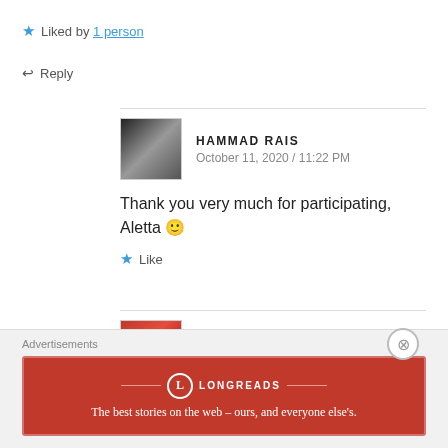★ Liked by 1 person
↩ Reply
HAMMAD RAIS
October 11, 2020 / 11:22 PM
Thank you very much for participating, Aletta 🙂
★ Like
ALETTA – NOWATHOME
October 12, 2020 / 5:01 PM
Advertisements
[Figure (logo): Longreads advertisement banner: red background with Longreads logo and text 'The best stories on the web – ours, and everyone else's.']